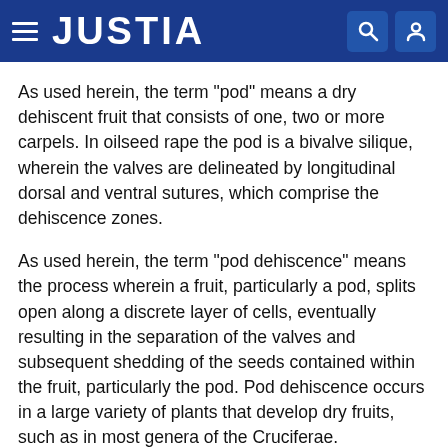JUSTIA
As used herein, the term “pod” means a dry dehiscent fruit that consists of one, two or more carpels. In oilseed rape the pod is a bivalve silique, wherein the valves are delineated by longitudinal dorsal and ventral sutures, which comprise the dehiscence zones.
As used herein, the term “pod dehiscence” means the process wherein a fruit, particularly a pod, splits open along a discrete layer of cells, eventually resulting in the separation of the valves and subsequent shedding of the seeds contained within the fruit, particularly the pod. Pod dehiscence occurs in a large variety of plants that develop dry fruits, such as in most genera of the Cruciferae.
The term “dehiscence zone” (DZ) in its most general sense includes the tissues in the zone along which a